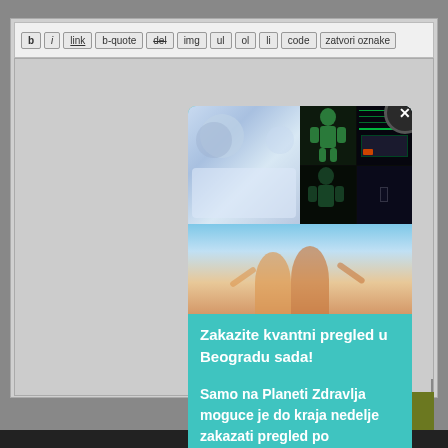[Figure (screenshot): Blog editor toolbar with buttons: b, i, link, b-quote, del, img, ul, ol, li, code, zatvori oznake]
[Figure (screenshot): Gray textarea editor area with resize handle]
[Figure (screenshot): Green POŠALJI (Send) button in bottom right]
[Figure (photo): Modal popup with teal/turquoise background. Top image collage: doctor in lab coat, anatomical body scan display. Bottom photo: happy couple with arms outstretched against blue sky.]
Zakazite kvantni pregled u Beogradu sada!
Samo na Planeti Zdravlja moguce je do kraja nedelje zakazati pregled po specijalnoj ceni od 5 290 din umesto 10 000 din!